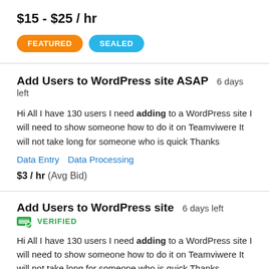$15 - $25 / hr
FEATURED   SEALED
Add Users to WordPress site ASAP  6 days left
Hi All I have 130 users I need adding to a WordPress site I will need to show someone how to do it on Teamviwere It will not take long for someone who is quick Thanks
Data Entry   Data Processing
$3 / hr  (Avg Bid)
Add Users to WordPress site  6 days left
VERIFIED
Hi All I have 130 users I need adding to a WordPress site I will need to show someone how to do it on Teamviwere It will not take long for someone who is quick Thanks